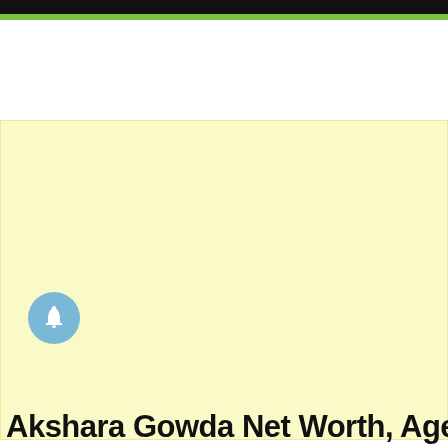[Figure (other): Large light yellow advertisement or placeholder block]
[Figure (other): Circular notification bell icon in light blue]
Akshara Gowda Net Worth, Age, Family